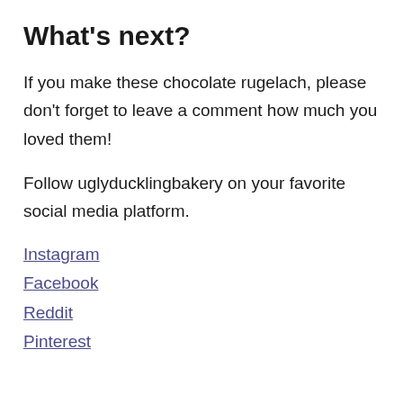What's next?
If you make these chocolate rugelach, please don't forget to leave a comment how much you loved them!
Follow uglyducklingbakery on your favorite social media platform.
Instagram
Facebook
Reddit
Pinterest